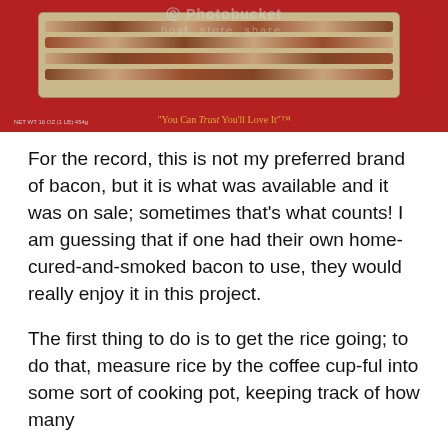[Figure (photo): A red bacon package with a clear window showing bacon strips inside. The package tagline reads "You Can Trust You'll Love It". A photobucket watermark is visible.]
For the record, this is not my preferred brand of bacon, but it is what was available and it was on sale; sometimes that's what counts! I am guessing that if one had their own home-cured-and-smoked bacon to use, they would really enjoy it in this project.
The first thing to do is to get the rice going; to do that, measure rice by the coffee cup-ful into some sort of cooking pot, keeping track of how many